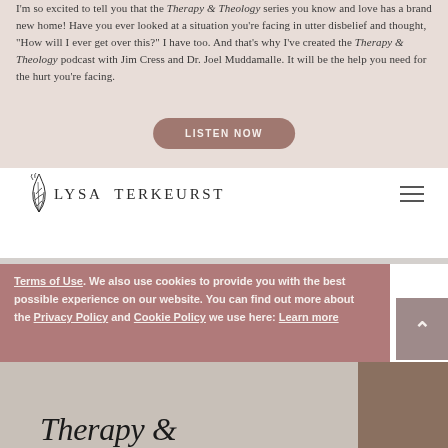I'm so excited to tell you that the Therapy & Theology series you know and love has a brand new home! Have you ever looked at a situation you're facing in utter disbelief and thought, "How will I ever get over this?" I have too. And that's why I've created the Therapy & Theology podcast with Jim Cress and Dr. Joel Muddamalle. It will be the help you need for the hurt you're facing.
[Figure (screenshot): LISTEN NOW button - rounded pill button in mauve/rose color with white uppercase text]
[Figure (logo): Lysa TerKeurst logo with decorative leaf/botanical illustration and serif uppercase text]
[Figure (screenshot): Hamburger menu icon (three horizontal lines) in top right of navigation bar]
Terms of Use. We also use cookies to provide you with the best possible experience on our website. You can find out more about the Privacy Policy and Cookie Policy we use here: Learn more
[Figure (screenshot): CONTINUE button - rounded pill button in light dusty rose color with dark uppercase text, shown in cookie consent overlay]
[Figure (screenshot): Scroll-to-top button on right side - mauve square with upward chevron arrow]
[Figure (photo): Bottom portion of page showing partial text 'Therapy &' in script font and partial image of a person]